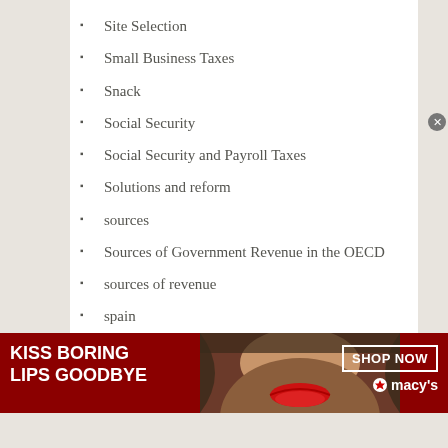Site Selection
Small Business Taxes
Snack
Social Security
Social Security and Payroll Taxes
Solutions and reform
sources
Sources of Government Revenue in the OECD
sources of revenue
spain
sports betting
standard deduction
[Figure (photo): Advertisement banner for Macy's lipstick with woman's face and red lips. Text reads 'KISS BORING LIPS GOODBYE' on left and 'SHOP NOW / macys' on right.]